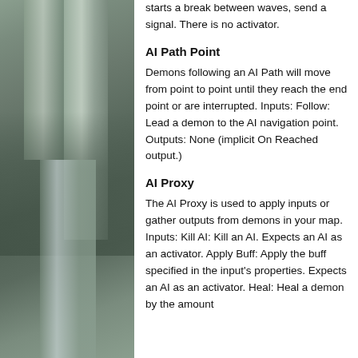[Figure (photo): Industrial or mechanical equipment photo with metallic/grey tones on the left panel]
starts a break between waves, send a signal. There is no activator.
AI Path Point
Demons following an AI Path will move from point to point until they reach the end point or are interrupted. Inputs: Follow: Lead a demon to the AI navigation point. Outputs: None (implicit On Reached output.)
AI Proxy
The AI Proxy is used to apply inputs or gather outputs from demons in your map. Inputs: Kill AI: Kill an AI. Expects an AI as an activator. Apply Buff: Apply the buff specified in the input's properties. Expects an AI as an activator. Heal: Heal a demon by the amount